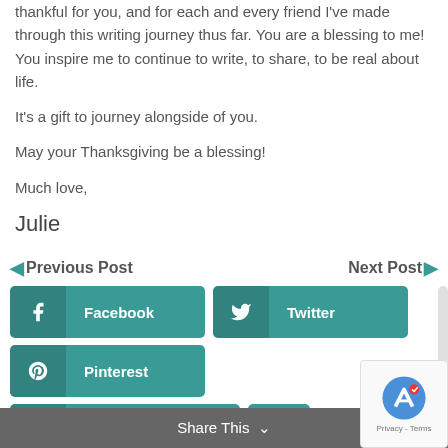thankful for you, and for each and every friend I've made through this writing journey thus far. You are a blessing to me! You inspire me to continue to write, to share, to be real about life.
It's a gift to journey alongside of you.
May your Thanksgiving be a blessing!
Much love,
Julie
Previous Post
Next Post
Facebook
Twitter
Pinterest
Print Friendly
...
Share This